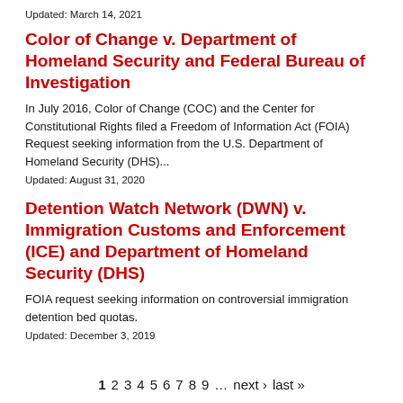Updated: March 14, 2021
Color of Change v. Department of Homeland Security and Federal Bureau of Investigation
In July 2016, Color of Change (COC) and the Center for Constitutional Rights filed a Freedom of Information Act (FOIA) Request seeking information from the U.S. Department of Homeland Security (DHS)...
Updated: August 31, 2020
Detention Watch Network (DWN) v. Immigration Customs and Enforcement (ICE) and Department of Homeland Security (DHS)
FOIA request seeking information on controversial immigration detention bed quotas.
Updated: December 3, 2019
1  2  3  4  5  6  7  8  9  …  next ›  last »